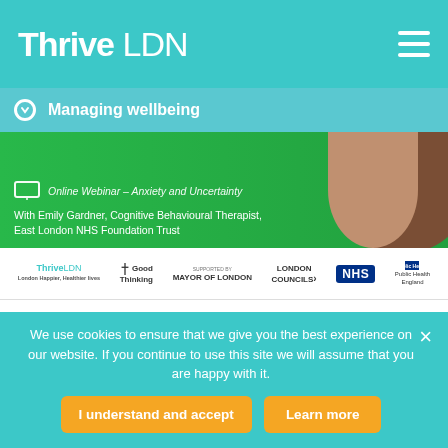Thrive LDN
Managing wellbeing
[Figure (screenshot): Green banner with monitor icon, partially visible text about an online program or webinar, subtitle: With Emily Gardner, Cognitive Behavioural Therapist, East London NHS Foundation Trust. Photo of a person on the right side.]
[Figure (logo): Logos bar: Thrive LDN, Good Thinking, supported by Mayor of London, London Councils, NHS, Public Health England]
When times are uncertain, it’s understandable to experience a
We use cookies to ensure that we give you the best experience on our website. If you continue to use this site we will assume that you are happy with it.